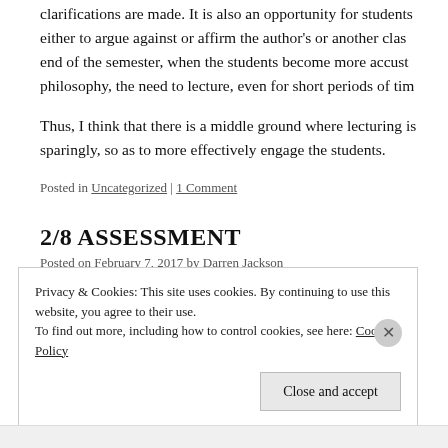clarifications are made. It is also an opportunity for students either to argue against or affirm the author's or another class end of the semester, when the students become more accust philosophy, the need to lecture, even for short periods of tim
Thus, I think that there is a middle ground where lecturing is sparingly, so as to more effectively engage the students.
Posted in Uncategorized | 1 Comment
2/8 ASSESSMENT
Posted on February 7, 2017 by Darren Jackson
Privacy & Cookies: This site uses cookies. By continuing to use this website, you agree to their use.
To find out more, including how to control cookies, see here: Cookie Policy
Close and accept